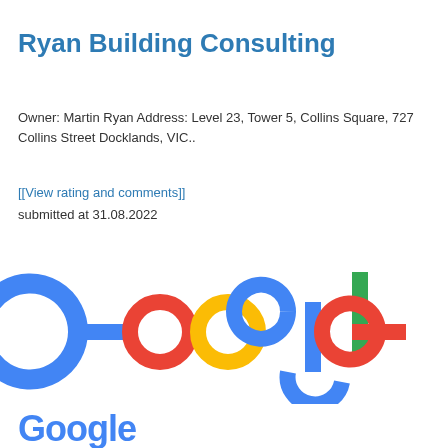Ryan Building Consulting
Owner: Martin Ryan Address: Level 23, Tower 5, Collins Square, 727 Collins Street Docklands, VIC..
[[View rating and comments]]
submitted at 31.08.2022
[Figure (logo): Google logo in full color — blue G, red o, yellow o, blue g, green l, red e]
Google